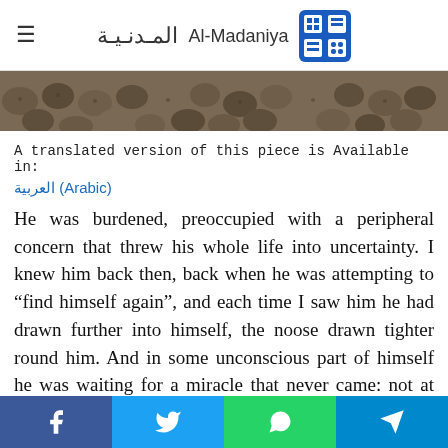Al-Madaniya المدنية
[Figure (photo): Close-up photo of rounded seed pods or plant material arranged densely, appearing brown/gray in color]
A translated version of this piece is Available in:
العربية (Arabic)
He was burdened, preoccupied with a peripheral concern that threw his whole life into uncertainty. I knew him back then, back when he was attempting to "find himself again", and each time I saw him he had drawn further into himself, the noose drawn tighter round him. And in some unconscious part of himself he was waiting for a miracle that never came: not at the right time, not at the...
Social share bar: Facebook, Twitter, WhatsApp, Telegram